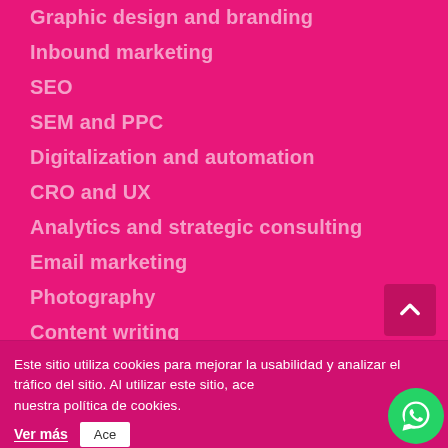Graphic design and branding
Inbound marketing
SEO
SEM and PPC
Digitalization and automation
CRO and UX
Analytics and strategic consulting
Email marketing
Photography
Content writing
Smartphone Apps
Este sitio utiliza cookies para mejorar la usabilidad y analizar el tráfico del sitio. Al utilizar este sitio, aceptas nuestra política de cookies. Ver más Ace